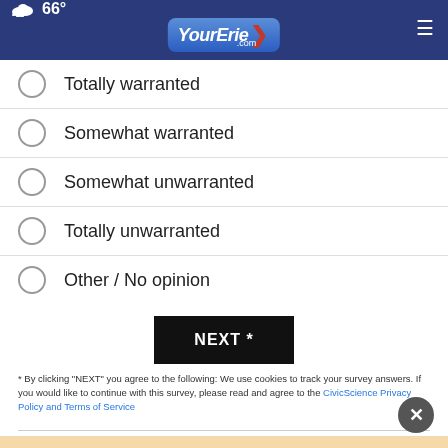66° YourErie.com
Totally warranted
Somewhat warranted
Somewhat unwarranted
Totally unwarranted
Other / No opinion
[Figure (other): NEXT * button - black rectangular button with white bold text]
* By clicking "NEXT" you agree to the following: We use cookies to track your survey answers. If you would like to continue with this survey, please read and agree to the CivicScience Privacy Policy and Terms of Service
[Figure (other): Advertisement banner - ATD Spots Fill Quickly with OPEN button]